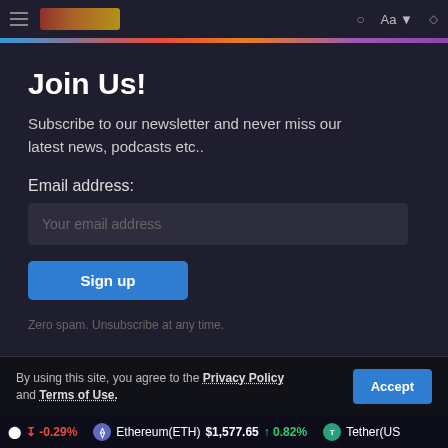Navigation bar with menu icon and logo
Join Us!
Subscribe to our newsletter and never miss our latest news, podcasts etc..
Email address:
Your email address
Sign up
Zero spam. Unsubscribe at any time.
By using this site, you agree to the Privacy Policy and Terms of Use.
-0.29%  Ethereum(ETH) $1,577.65 ↑ 0.82%  Tether(US